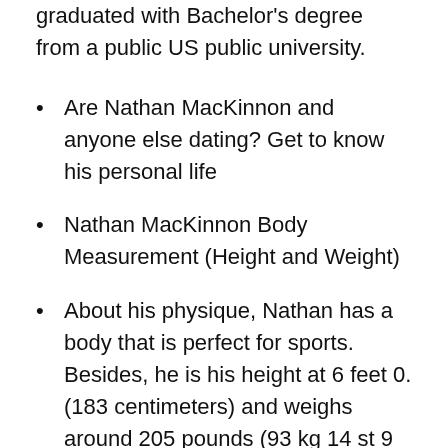graduated with Bachelor's degree from a public US public university.
Are Nathan MacKinnon and anyone else dating? Get to know his personal life
Nathan MacKinnon Body Measurement (Height and Weight)
About his physique, Nathan has a body that is perfect for sports. Besides, he is his height at 6 feet 0. (183 centimeters) and weighs around 205 pounds (93 kg 14 st 9 lb).
About his physique, Nathan has a body that is ideal for playing athletics. Furthermore, he